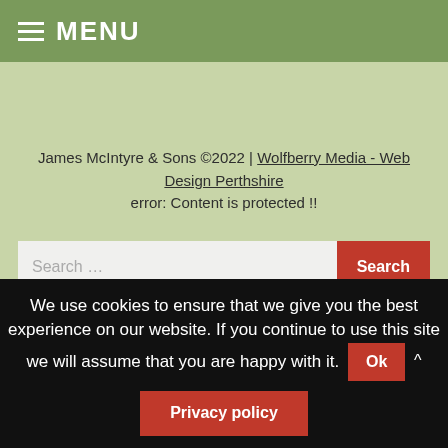MENU
James McIntyre & Sons ©2022 | Wolfberry Media - Web Design Perthshire
error: Content is protected !!
Search ...
We use cookies to ensure that we give you the best experience on our website. If you continue to use this site we will assume that you are happy with it.
Ok
Privacy policy